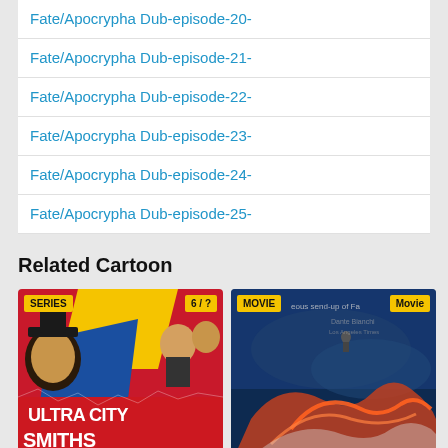Fate/Apocrypha Dub-episode-20-
Fate/Apocrypha Dub-episode-21-
Fate/Apocrypha Dub-episode-22-
Fate/Apocrypha Dub-episode-23-
Fate/Apocrypha Dub-episode-24-
Fate/Apocrypha Dub-episode-25-
Related Cartoon
[Figure (photo): Ultra City Smiths series card with SERIES badge and 6/? badge]
[Figure (photo): Movie card with MOVIE badge and Movie badge, showing a fantasy/sci-fi movie poster with flame imagery]